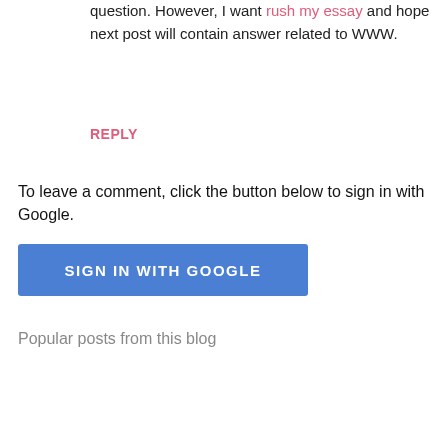question. However, I want rush my essay and hope next post will contain answer related to WWW.
REPLY
To leave a comment, click the button below to sign in with Google.
SIGN IN WITH GOOGLE
Popular posts from this blog
[Figure (screenshot): Internet Explorer browser window showing an error dialog with a dark blue title bar reading 's Internet Explorer', the message 'Unable to add selected web part(s).', and below an arrow icon with text 'ArcEmployeeDirWebPart: Cannot unregister UpdatePanel with [...]']